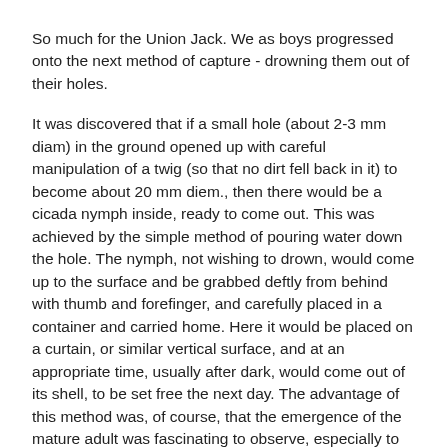So much for the Union Jack. We as boys progressed onto the next method of capture - drowning them out of their holes.
It was discovered that if a small hole (about 2-3 mm diam) in the ground opened up with careful manipulation of a twig (so that no dirt fell back in it) to become about 20 mm diem., then there would be a cicada nymph inside, ready to come out. This was achieved by the simple method of pouring water down the hole. The nymph, not wishing to drown, would come up to the surface and be grabbed deftly from behind with thumb and forefinger, and carefully placed in a container and carried home. Here it would be placed on a curtain, or similar vertical surface, and at an appropriate time, usually after dark, would come out of its shell, to be set free the next day. The advantage of this method was, of course, that the emergence of the mature adult was fascinating to observe, especially to see the formation of the wings.